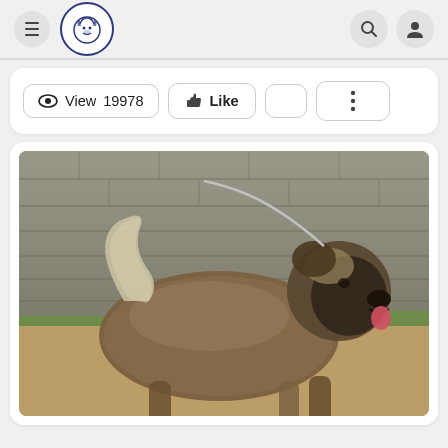Navigation bar with hamburger menu, dog breed logo, search icon, and user icon
View  19978   Like
[Figure (photo): A large fluffy gray-brown dog (Caucasian Shepherd or similar breed) on a leash, standing on dirt ground in front of a stone wall with green grass visible. The dog faces right with tongue out and tail curled up.]